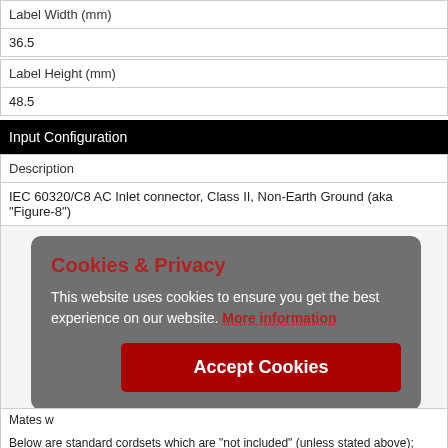| Label Width (mm) |
| --- |
| 36.5 |
| Label Height (mm) |
| --- |
| 48.5 |
Input Configuration
| Description |
| --- |
| IEC 60320/C8 AC Inlet connector, Class II, Non-Earth Ground (aka "Figure-8") |
[Figure (screenshot): Cookies & Privacy overlay popup on a grey background. Title in red: 'Cookies & Privacy'. Body text in white: 'This website uses cookies to ensure you get the best experience on our website. More information'. Red 'Accept Cookies' button at bottom right.]
Mates w
Below are standard cordsets which are "not included" (unless stated above); these may b